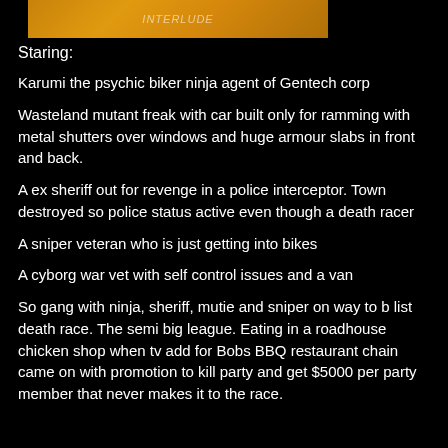[Figure (illustration): Orange/golden colored image banner at top of page, partially visible, appears to be a game or movie cover art]
Staring:
Karumi the psychic biker ninja agent of Gentech corp
Wasteland mutant freak with car built only for ramming with metal shutters over windows and huge armour slabs in front and back.
A ex sheriff out for revenge in a police interceptor. Town destroyed so police status active even though a death racer
A sniper veteran who is just getting into bikes
A cyborg war vet with self control issues and a van
So gang with ninja, sheriff, mutie and sniper on way to b list death race. The semi big league. Eating in a roadhouse chicken shop when tv add for Bobs BBQ restaurant chain came on with promotion to kill party and get $5000 per party member that never makes it to the race.